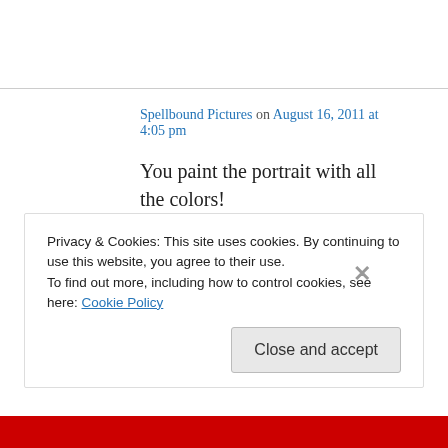Spellbound Pictures on August 16, 2011 at 4:05 pm
You paint the portrait with all the colors!
Beautiful, Kate!!! xoxo Pamela
↳ Reply
Privacy & Cookies: This site uses cookies. By continuing to use this website, you agree to their use.
To find out more, including how to control cookies, see here: Cookie Policy
Close and accept